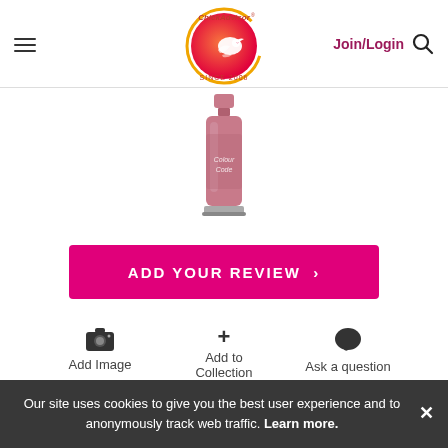ChickAdvisor — Join/Login
[Figure (photo): A small bottle of pink/mauve nail polish (Colour Code brand) shown against a white background, cropped at the top.]
ADD YOUR REVIEW ›
Add Image
Add to Collection
Ask a question
Our site uses cookies to give you the best user experience and to anonymously track web traffic. Learn more.